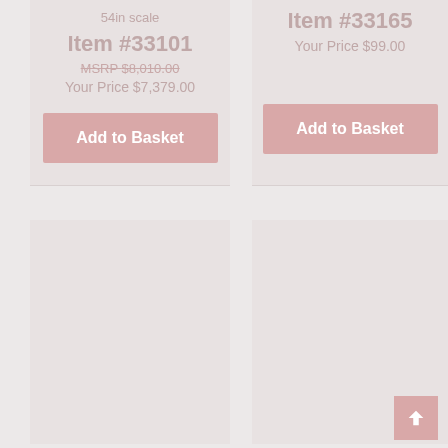54in scale
Item #33101
MSRP $8,010.00
Your Price $7,379.00
Add to Basket
Item #33165
Your Price $99.00
Add to Basket